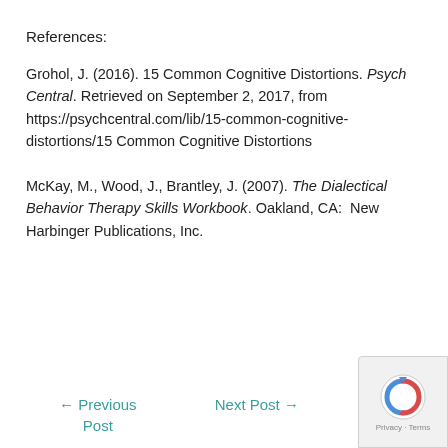References:
Grohol, J. (2016). 15 Common Cognitive Distortions. Psych Central. Retrieved on September 2, 2017, from https://psychcentral.com/lib/15-common-cognitive-distortions/15 Common Cognitive Distortions
McKay, M., Wood, J., Brantley, J. (2007). The Dialectical Behavior Therapy Skills Workbook. Oakland, CA:  New Harbinger Publications, Inc.
← Previous Post   Next Post →